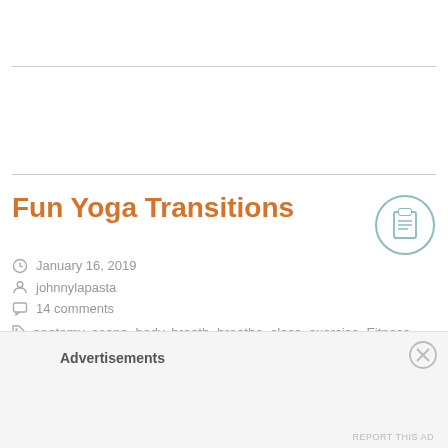Fun Yoga Transitions
January 16, 2019
johnnylapasta
14 comments
anatomy, asana, body, breath, breathe, class, exercise, Fitness, health, instructor, lifestyle, pose, practice, prana, teacher, Wellness, yoga, yogi
Advertisements